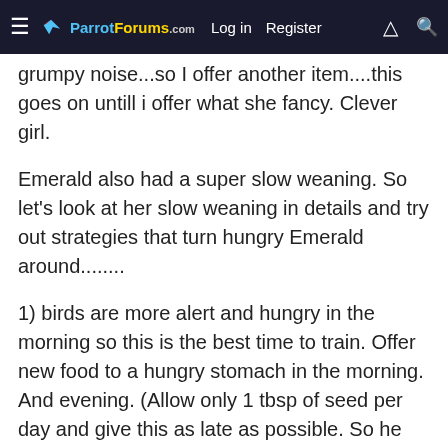ParrotForums.com  Log in  Register
grumpy noise...so I offer another item....this goes on untill i offer what she fancy. Clever girl.
Emerald also had a super slow weaning. So let's look at her slow weaning in details and try out strategies that turn hungry Emerald around........
1) birds are more alert and hungry in the morning so this is the best time to train. Offer new food to a hungry stomach in the morning. And evening. (Allow only 1 tbsp of seed per day and give this as late as possible. So he does not want to wait.)
2) if he is not familiar with the new food, say refusing to take a bite, make a puree then offer it. For example, he may not eat an apple, may not bite from a slice, but